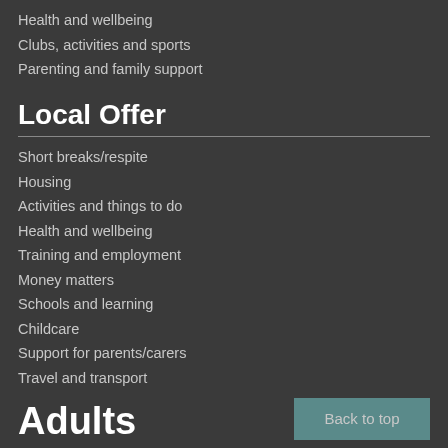Health and wellbeing
Clubs, activities and sports
Parenting and family support
Local Offer
Short breaks/respite
Housing
Activities and things to do
Health and wellbeing
Training and employment
Money matters
Schools and learning
Childcare
Support for parents/carers
Travel and transport
Adults
Back to top